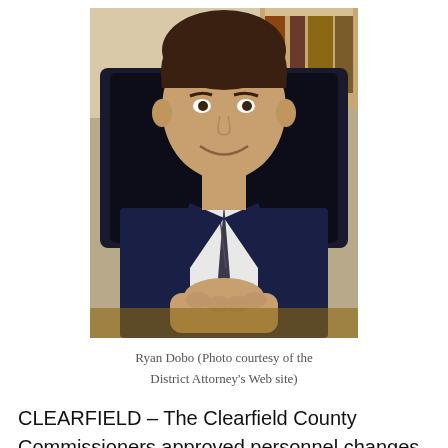[Figure (photo): Man in dark blue suit and striped tie seated at a desk with hands clasped, smiling, with bookshelves in the background. Ryan Dobo.]
Ryan Dobo (Photo courtesy of the District Attorney's Web site)
CLEARFIELD – The Clearfield County Commissioners approved personnel changes in the District Attorney's office on Tuesday.